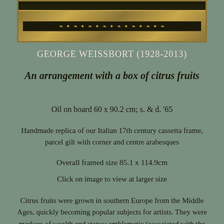[Figure (photo): Partial view of a framed painting showing ornate dark frame with gold decorative elements — Italian 17th century cassetta style frame with corner and centre arabesques]
GEORGE WEISSBORT (1928-2013)
An arrangement with a box of citrus fruits
Oil on board 60 x 90.2 cm; s. & d. '65
Handmade replica of our Italian 17th century cassetta frame, parcel gilt with corner and centre arabesques
Overall framed size 85.1 x 114.9cm
Click on image to view at larger size
Citrus fruits were grown in southern Europe from the Middle Ages, quickly becoming popular subjects for artists. They were markers of wealth and status; emblematic (associated with the fruit of the Hesperides in Classical myth and with the